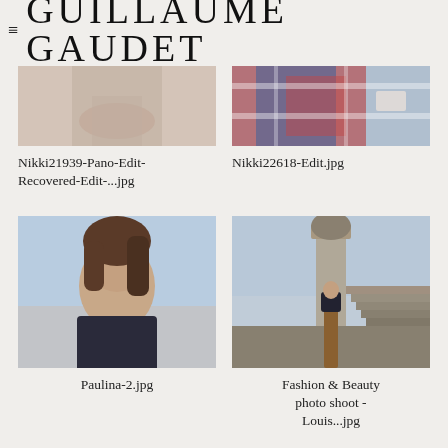GUILLAUME GAUDET
[Figure (photo): Partial photo of person wearing beige/nude bra, cropped at top, file Nikki21939-Pano-Edit-Recovered-Edit-...jpg]
Nikki21939-Pano-Edit-Recovered-Edit-...jpg
[Figure (photo): Partial photo of person in plaid/tartan shirt, cropped at top, file Nikki22618-Edit.jpg]
Nikki22618-Edit.jpg
[Figure (photo): Portrait of young woman with dark hair against sky background, wearing dark lace top, file Paulina-2.jpg]
Paulina-2.jpg
[Figure (photo): Fashion photo of woman in long brown dress standing beside stone pillar/staircase outdoors, file Fashion & Beauty photo shoot - Louis...jpg]
Fashion & Beauty photo shoot - Louis...jpg